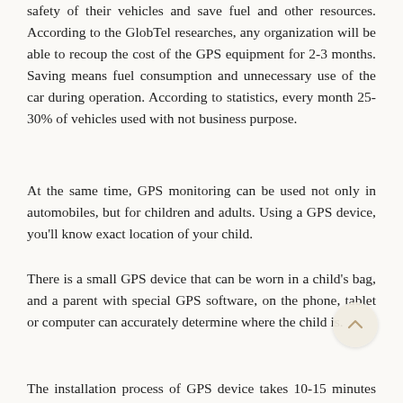safety of their vehicles and save fuel and other resources. According to the GlobTel researches, any organization will be able to recoup the cost of the GPS equipment for 2-3 months. Saving means fuel consumption and unnecessary use of the car during operation. According to statistics, every month 25-30% of vehicles used with not business purpose.
At the same time, GPS monitoring can be used not only in automobiles, but for children and adults. Using a GPS device, you'll know exact location of your child.
There is a small GPS device that can be worn in a child's bag, and a parent with special GPS software, on the phone, tablet or computer can accurately determine where the child is.
The installation process of GPS device takes 10-15 minutes and can be tracked at the GPS software immediately after installation is complete. The process